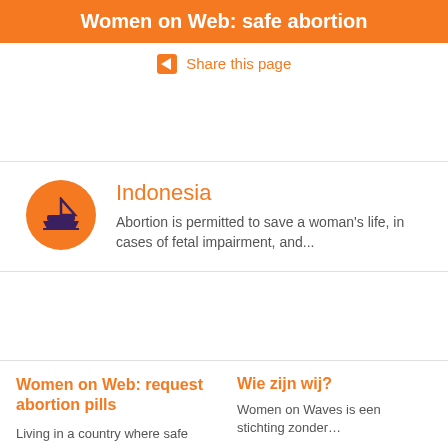Women on Web: safe abortion
Share this page
[Figure (illustration): Orange circle with a boat/ship icon in dark purple/navy color]
Indonesia
Abortion is permitted to save a woman's life, in cases of fetal impairment, and...
Women on Web: request abortion pills
Living in a country where safe abortion...
Wie zijn wij?
Women on Waves is een stichting zonder...
© 2022 Women on Waves